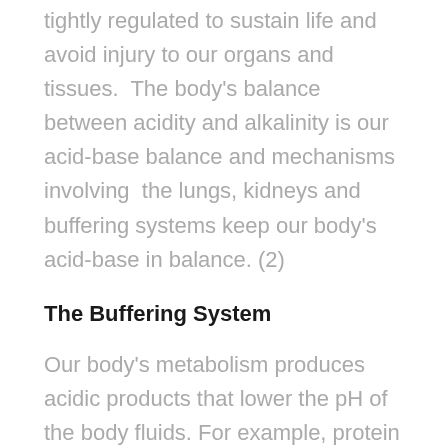tightly regulated to sustain life and avoid injury to our organs and tissues. The body's balance between acidity and alkalinity is our acid-base balance and mechanisms involving the lungs, kidneys and buffering systems keep our body's acid-base in balance. (2)
The Buffering System
Our body's metabolism produces acidic products that lower the pH of the body fluids. For example, protein metabolism produces phosphoric and sulfuric acids. When we metabolise fats, we produce fatty